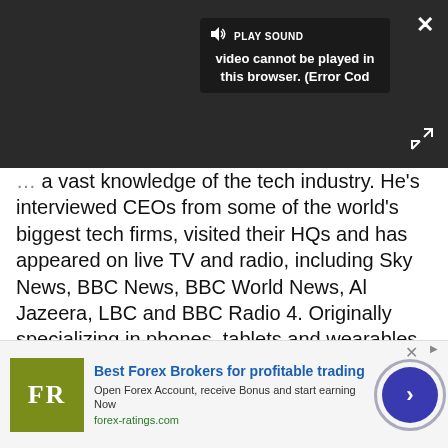[Figure (screenshot): Dark video player area showing a 'PLAY SOUND' button and a message overlay reading 'video cannot be played in this browser. (Error Cod' with a close button (×) and expand button.]
a vast knowledge of the tech industry. He's interviewed CEOs from some of the world's biggest tech firms, visited their HQs and has appeared on live TV and radio, including Sky News, BBC News, BBC World News, Al Jazeera, LBC and BBC Radio 4. Originally specializing in phones, tablets and wearables, John is now TechRadar's resident automotive expert, reviewing the latest and greatest EVs and PHEVs on the market. John also looks after the day-to-day running of the
[Figure (infographic): Advertisement banner for forex-ratings.com showing 'Best Forex Brokers for profitable trading' with FR logo, subtitle 'Open Forex Account, receive Bonus and start earning Now', URL 'forex-ratings.com', and a circular call-to-action button with arrow.]